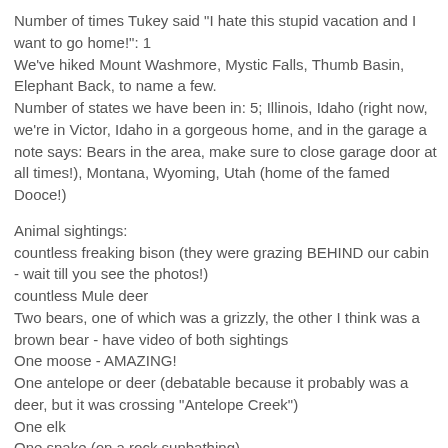Number of times Tukey said "I hate this stupid vacation and I want to go home!": 1
We've hiked Mount Washmore, Mystic Falls, Thumb Basin, Elephant Back, to name a few.
Number of states we have been in: 5; Illinois, Idaho (right now, we're in Victor, Idaho in a gorgeous home, and in the garage a note says: Bears in the area, make sure to close garage door at all times!), Montana, Wyoming, Utah (home of the famed Dooce!)
Animal sightings:
countless freaking bison (they were grazing BEHIND our cabin - wait till you see the photos!)
countless Mule deer
Two bears, one of which was a grizzly, the other I think was a brown bear - have video of both sightings
One moose - AMAZING!
One antelope or deer (debatable because it probably was a deer, but it was crossing "Antelope Creek")
One elk
One snake (on a rock sunbathing)
Some cute chipmunks